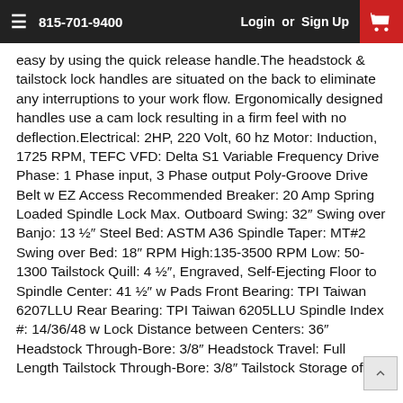815-701-9400   Login or Sign Up
easy by using the quick release handle.The headstock & tailstock lock handles are situated on the back to eliminate any interruptions to your work flow. Ergonomically designed handles use a cam lock resulting in a firm feel with no deflection.Electrical: 2HP, 220 Volt, 60 hz Motor: Induction, 1725 RPM, TEFC VFD: Delta S1 Variable Frequency Drive Phase: 1 Phase input, 3 Phase output Poly-Groove Drive Belt w EZ Access Recommended Breaker: 20 Amp Spring Loaded Spindle Lock Max. Outboard Swing: 32″ Swing over Banjo: 13 ½″ Steel Bed: ASTM A36 Spindle Taper: MT#2 Swing over Bed: 18″ RPM High:135-3500 RPM Low: 50-1300 Tailstock Quill: 4 ½″, Engraved, Self-Ejecting Floor to Spindle Center: 41 ½″ w Pads Front Bearing: TPI Taiwan 6207LLU Rear Bearing: TPI Taiwan 6205LLU Spindle Index #: 14/36/48 w Lock Distance between Centers: 36″ Headstock Through-Bore: 3/8″ Headstock Travel: Full Length Tailstock Through-Bore: 3/8″ Tailstock Storage of